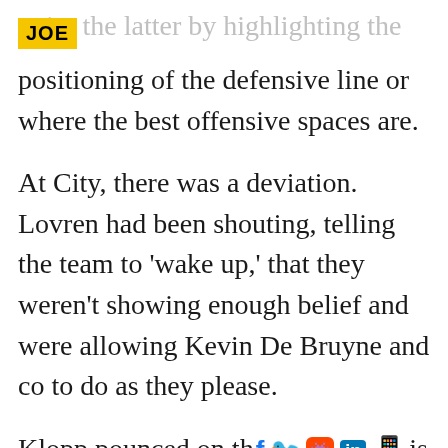JOE
…ire the latter by highlighting the positioning of the defensive line or where the best offensive spaces are.
At City, there was a deviation. Lovren had been shouting, telling the team to 'wake up,' that they weren't showing enough belief and were allowing Kevin De Bruyne and co to do as they please.
Klopp pounced on this as the perfect opening for his own message and so he broke away from his normal process